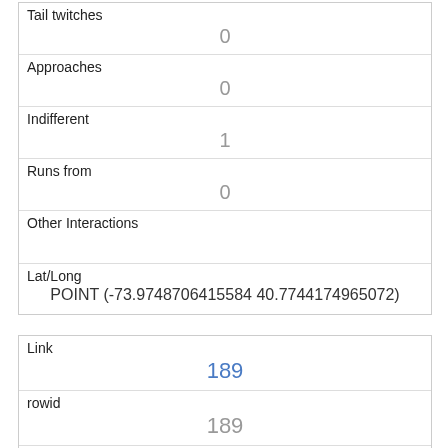| Tail twitches | 0 |
| Approaches | 0 |
| Indifferent | 1 |
| Runs from | 0 |
| Other Interactions |  |
| Lat/Long | POINT (-73.9748706415584 40.7744174965072) |
| Link | 189 |
| rowid | 189 |
| longitude | -73.9735489537928 |
| latitude | 40.76812579115229 |